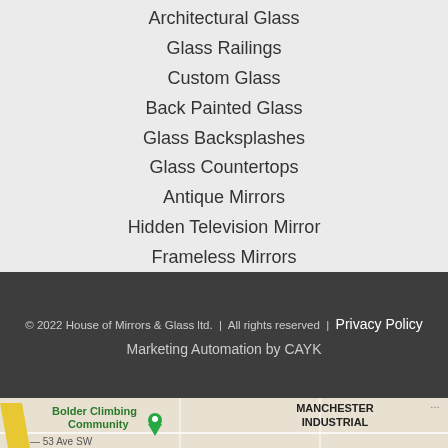Architectural Glass
Glass Railings
Custom Glass
Back Painted Glass
Glass Backsplashes
Glass Countertops
Antique Mirrors
Hidden Television Mirror
Frameless Mirrors
© 2022 House of Mirrors & Glass ltd. | All rights reserved | Privacy Policy
Marketing Automation by CAYK
[Figure (map): Street map showing location near Manchester Industrial area, with Bolder Climbing Community marker and 53 Ave SW street label]